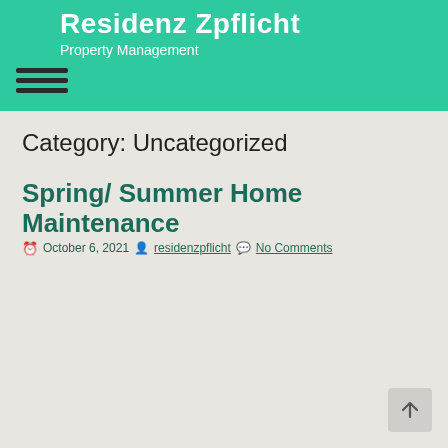Residenz Zpflicht
Property Management
Category: Uncategorized
Spring/ Summer Home Maintenance
October 6, 2021  residenzpflicht  No Comments